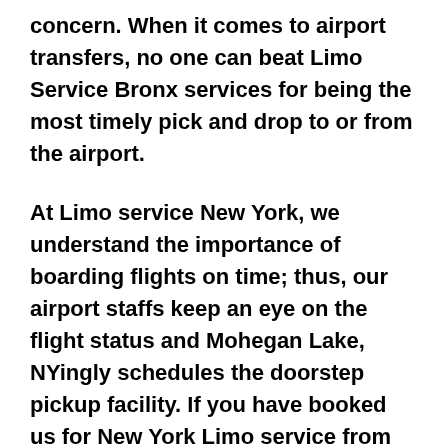concern. When it comes to airport transfers, no one can beat Limo Service Bronx services for being the most timely pick and drop to or from the airport.
At Limo service New York, we understand the importance of boarding flights on time; thus, our airport staffs keep an eye on the flight status and Mohegan Lake, NYingly schedules the doorstep pickup facility. If you have booked us for New York Limo service from Mohegan Lake, NY, our professional and knowledgeable driver, make sure to pick up the shortest route possible for your convenient and timely transit.
The highly skilled and talented chauffeur of Luxury Limo service New York City makes the place of the